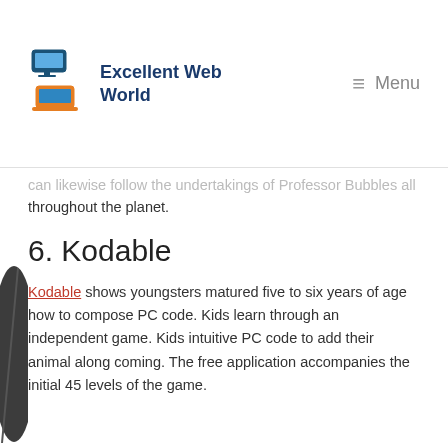Excellent Web World — Menu
can likewise follow the undertakings of Professor Bubbles all throughout the planet.
6. Kodable
Kodable shows youngsters matured five to six years of age how to compose PC code. Kids learn through an independent game. Kids intuitive PC code to add their animal along coming. The free application accompanies the initial 45 levels of the game.